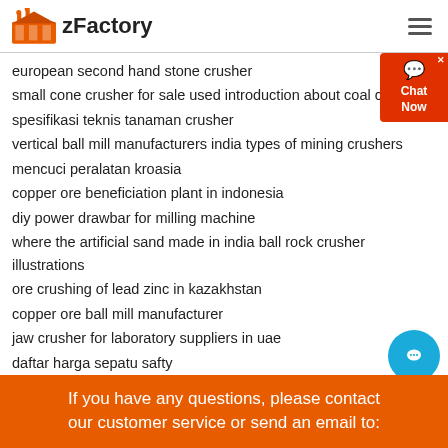[Figure (logo): zFactory logo with orange factory icon and bold text 'zFactory']
european second hand stone crusher
small cone crusher for sale used introduction about coal crusher
spesifikasi teknis tanaman crusher
vertical ball mill manufacturers india types of mining crushers
mencuci peralatan kroasia
copper ore beneficiation plant in indonesia
diy power drawbar for milling machine
where the artificial sand made in india ball rock crusher illustrations
ore crushing of lead zinc in kazakhstan
copper ore ball mill manufacturer
jaw crusher for laboratory suppliers in uae
daftar harga sepatu safty
how to draw an isometric screw conveyor in autocad
manufacturing ball mill ball mill price and manufacturer
If you have any questions, please contact our customer service or send an email to: